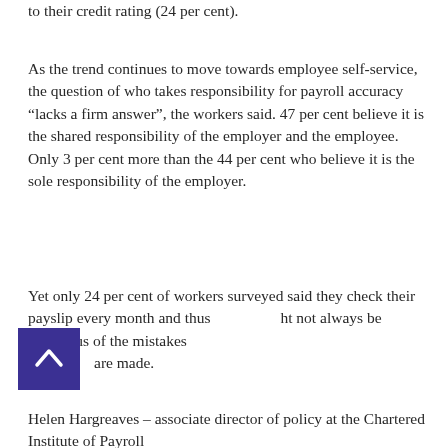to their credit rating (24 per cent).
As the trend continues to move towards employee self-service, the question of who takes responsibility for payroll accuracy “lacks a firm answer”, the workers said. 47 per cent believe it is the shared responsibility of the employer and the employee. Only 3 per cent more than the 44 per cent who believe it is the sole responsibility of the employer.
Yet only 24 per cent of workers surveyed said they check their payslip every month and thus might not always be conscious of the mistakes that are made.
Helen Hargreaves – associate director of policy at the Chartered Institute of Payroll